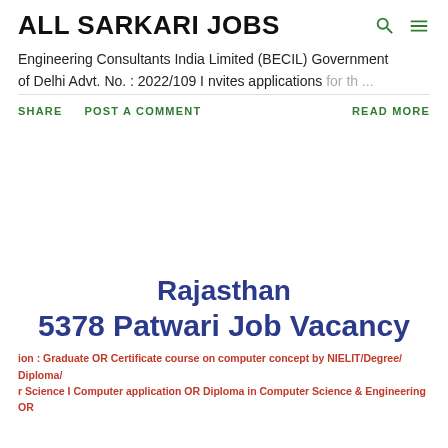ALL SARKARI JOBS
Engineering Consultants India Limited (BECIL) Government of Delhi Advt. No. : 2022/109 I nvites applications for th …
SHARE   POST A COMMENT   READ MORE
Rajasthan
5378 Patwari Job Vacancy
ion : Graduate OR Certificate course on computer concept by NIELIT/Degree/ Diploma/ r Science I Computer application OR Diploma in Computer Science & Engineering OR